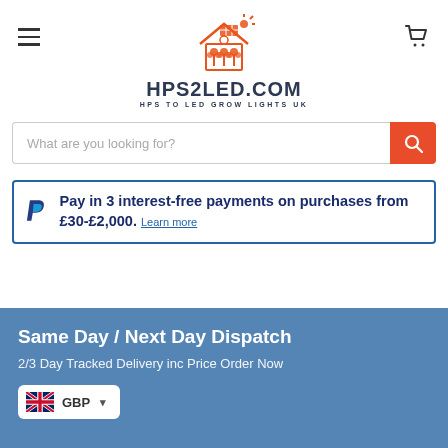[Figure (logo): HPS2LED.COM logo with orange house/solar/plant icon and dark blue text HPS2LED.COM, subtitle HPS TO LED GROW LIGHTS UK]
[Figure (screenshot): Search bar with placeholder text 'What are you looking for?' and orange search button]
Pay in 3 interest-free payments on purchases from £30-£2,000. Learn more
Same Day / Next Day Dispatch
2/3 Day Tracked Delivery inc Price Order Now
[Figure (screenshot): Currency selector showing GBP with UK flag]